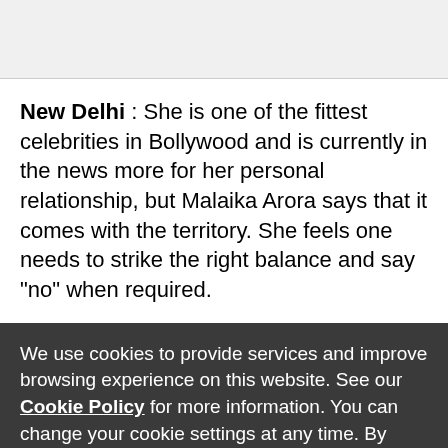[Figure (other): Gray banner/advertisement placeholder area at the top of the page]
New Delhi : She is one of the fittest celebrities in Bollywood and is currently in the news more for her personal relationship, but Malaika Arora says that it comes with the territory. She feels one needs to strike the right balance and say "no" when required.
We use cookies to provide services and improve browsing experience on this website. See our Cookie Policy for more information. You can change your cookie settings at any time. By continuing to browse this website, you agree to the automatic use of cookies. Learn more
We use marketing cookies to help us improve the relevancy of advertising campaigns you receive.
Accept